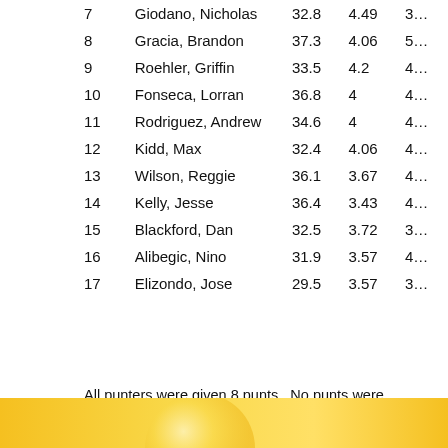| # | Name | Avg | Hang | Best |
| --- | --- | --- | --- | --- |
| 7 | Giodano, Nicholas | 32.8 | 4.49 | 3… |
| 8 | Gracia, Brandon | 37.3 | 4.06 | 5… |
| 9 | Roehler, Griffin | 33.5 | 4.2 | 4… |
| 10 | Fonseca, Lorran | 36.8 | 4 | 4… |
| 11 | Rodriguez, Andrew | 34.6 | 4 | 4… |
| 12 | Kidd, Max | 32.4 | 4.06 | 4… |
| 13 | Wilson, Reggie | 36.1 | 3.67 | 4… |
| 14 | Kelly, Jesse | 36.4 | 3.43 | 4… |
| 15 | Blackford, Dan | 32.5 | 3.72 | 3… |
| 16 | Alibegic, Nino | 31.9 | 3.57 | 4… |
| 17 | Elizondo, Jose | 29.5 | 3.57 | 3… |
All punters were given 8 punts.  No punts were dropped.  Best 1 ball dropped from the set of 8.
Conditions: 75 degrees. Slight Wind.